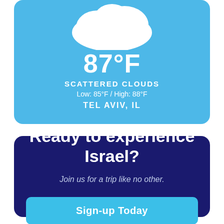[Figure (infographic): Weather card with cloud icon showing 87°F, scattered clouds, low 85°F / high 88°F, Tel Aviv, IL on a light blue background]
Ready to experience Israel?
Join us for a trip like no other.
Sign-up Today